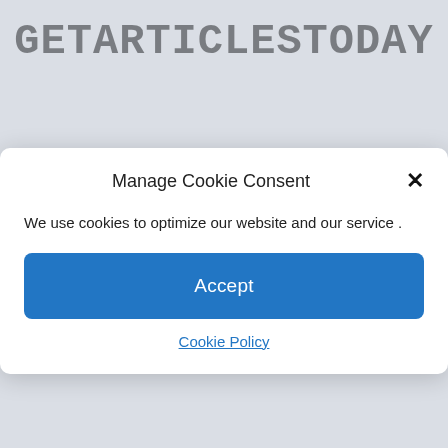GETARTICLESTODAY
Manage Cookie Consent
We use cookies to optimize our website and our service .
Accept
Cookie Policy